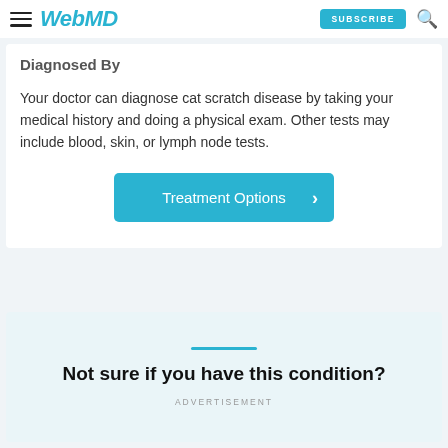WebMD — Subscribe, Search
Diagnosed By
Your doctor can diagnose cat scratch disease by taking your medical history and doing a physical exam. Other tests may include blood, skin, or lymph node tests.
[Figure (other): Blue button labeled 'Treatment Options' with a right-pointing chevron arrow]
Not sure if you have this condition?
ADVERTISEMENT